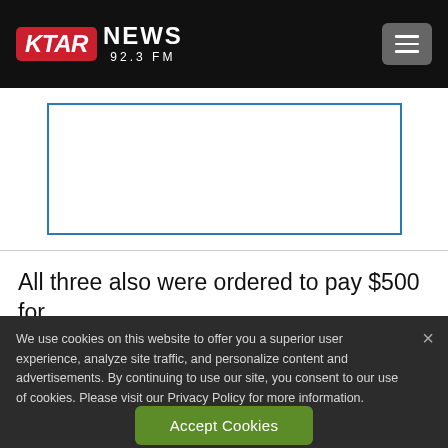[Figure (logo): KTAR NEWS 92.3 FM logo on black header bar with hamburger menu button]
[Figure (other): Advertisement placeholder box with blue border]
All three also were ordered to pay $500 for
We use cookies on this website to offer you a superior user experience, analyze site traffic, and personalize content and advertisements. By continuing to use our site, you consent to our use of cookies. Please visit our Privacy Policy for more information.
Accept Cookies